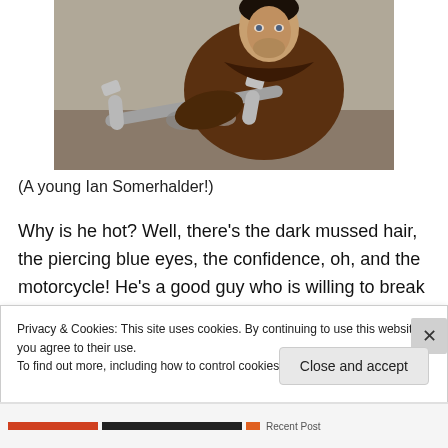[Figure (photo): A young man in a brown leather jacket leaning over a motorcycle, looking at camera. Resembles Ian Somerhalder.]
(A young Ian Somerhalder!)
Why is he hot? Well, there’s the dark mussed hair, the piercing blue eyes, the confidence, oh, and the motorcycle! He’s a good guy who is willing to break into a
Privacy & Cookies: This site uses cookies. By continuing to use this website, you agree to their use.
To find out more, including how to control cookies, see here: Cookie Policy
Close and accept